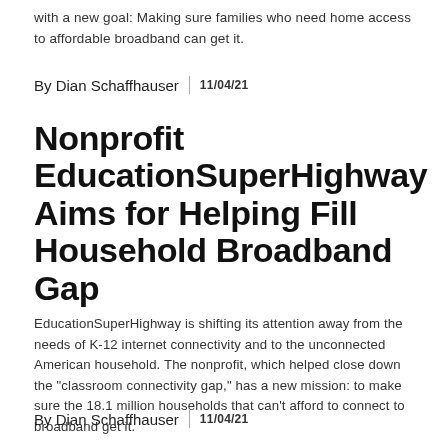with a new goal: Making sure families who need home access to affordable broadband can get it.
By Dian Schaffhauser | 11/04/21
Nonprofit EducationSuperHighway Aims for Helping Fill Household Broadband Gap
EducationSuperHighway is shifting its attention away from the needs of K-12 internet connectivity and to the unconnected American household. The nonprofit, which helped close down the "classroom connectivity gap," has a new mission: to make sure the 18.1 million households that can't afford to connect to broadband get it.
By Dian Schaffhauser | 11/04/21